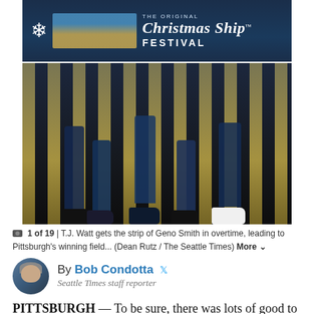[Figure (photo): Advertisement banner: The Original Christmas Ship Festival with snowflake icon and ship image on dark blue background]
[Figure (photo): Football players' legs and cleats on field, featuring Seahawks (navy/green) and Steelers (black/gold) uniforms during game play]
1 of 19 | T.J. Watt gets the strip of Geno Smith in overtime, leading to Pittsburgh's winning field... (Dean Rutz / The Seattle Times) More
By Bob Condotta
Seattle Times staff reporter
PITTSBURGH — To be sure, there was lots of good to go around in a game in which the Seahawks mostly played the kind of football they will need to survive loss without Russell Wilson for any length of time